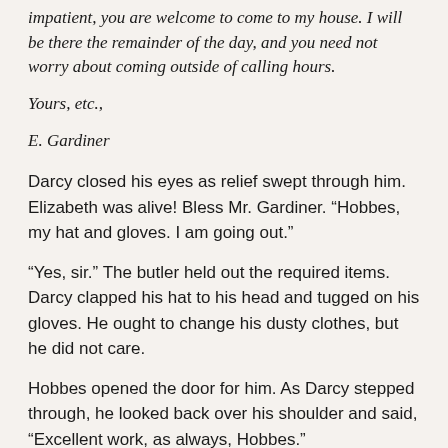impatient, you are welcome to come to my house. I will be there the remainder of the day, and you need not worry about coming outside of calling hours.
Yours, etc.,
E. Gardiner
Darcy closed his eyes as relief swept through him. Elizabeth was alive! Bless Mr. Gardiner. “Hobbes, my hat and gloves. I am going out.”
“Yes, sir.” The butler held out the required items. Darcy clapped his hat to his head and tugged on his gloves. He ought to change his dusty clothes, but he did not care.
Hobbes opened the door for him. As Darcy stepped through, he looked back over his shoulder and said, “Excellent work, as always, Hobbes.”